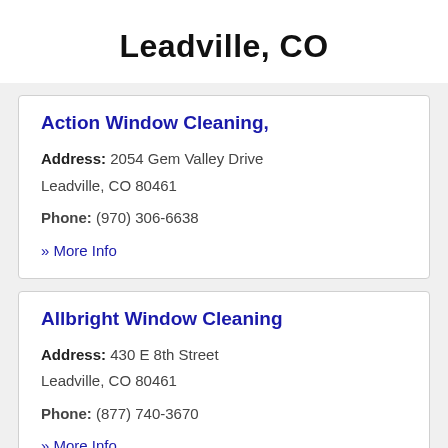Leadville, CO
Action Window Cleaning,
Address: 2054 Gem Valley Drive Leadville, CO 80461
Phone: (970) 306-6638
» More Info
Allbright Window Cleaning
Address: 430 E 8th Street Leadville, CO 80461
Phone: (877) 740-3670
» More Info